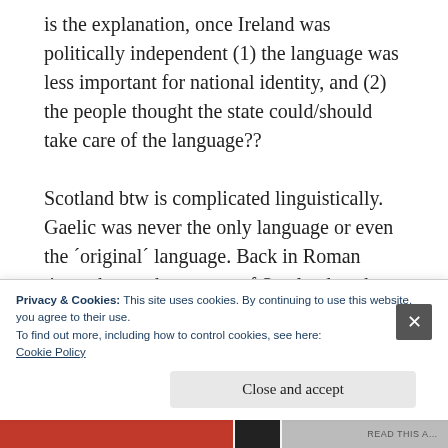is the explanation, once Ireland was politically independent (1) the language was less important for national identity, and (2) the people thought the state could/should take care of the language??
Scotland btw is complicated linguistically. Gaelic was never the only language or even the ´original´ language. Back in Roman times the southern parts of Scotland spoke British like all the rest of Britain to the south of them. British is the language which went on
Privacy & Cookies: This site uses cookies. By continuing to use this website, you agree to their use.
To find out more, including how to control cookies, see here: Cookie Policy
Close and accept